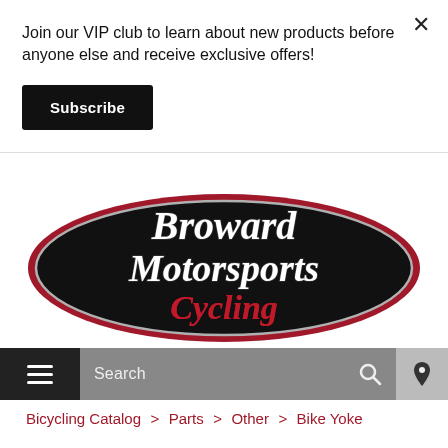Join our VIP club to learn about new products before anyone else and receive exclusive offers!
Subscribe
[Figure (logo): Broward Motorsports Cycling oval logo — black oval with red border, white scripted text reading 'Broward Motorsports Cycling']
Search
Bicycling Catalog > Parts > Other > Bike Yoke
Bike Yoke
Bike Yoke Shifty for